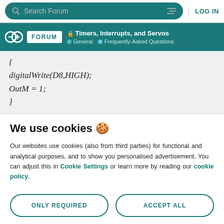Search Forum | LOG IN
🔒 Timers, Interrupts, and Servos — General · Frequently-Asked Questions
{
digitalWrite(D8,HIGH);
OutM = 1;
}
We use cookies 🍪
Our websites use cookies (also from third parties) for functional and analytical purposes, and to show you personalised advertisement. You can adjust this in Cookie Settings or learn more by reading our cookie policy.
ONLY REQUIRED
ACCEPT ALL